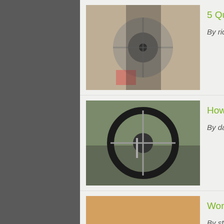[Figure (photo): Close-up photo of bicycle gears/chainring]
5 Quick Tips to Keep Y…
By richard.owen on June 7, 2021
[Figure (photo): Close-up photo of bicycle tire/wheel]
How to avoid puncture…
By dancampsall on May 7, 2021
[Figure (photo): Person sitting next to bicycle in a field]
World Suicide Preventi…
By steveferris on September 10, 2020
Advice pages:
Advice
Maintenance